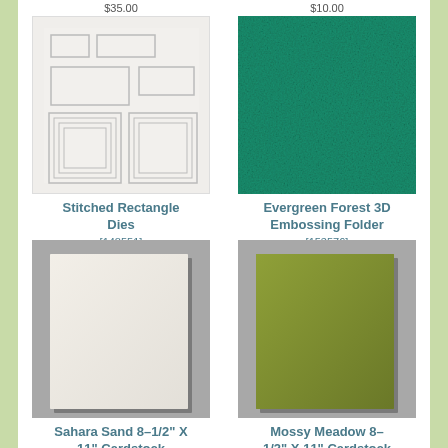$35.00   $10.00
[Figure (photo): Stitched Rectangle Dies product photo showing various rectangular metal dies on white background]
Stitched Rectangle Dies
[148551]
$35.00
[Figure (photo): Evergreen Forest 3D Embossing Folder product photo showing green textured embossing folder]
Evergreen Forest 3D Embossing Folder
[153576]
$10.00
[Figure (photo): Sahara Sand 8-1/2 X 11 Cardstock product photo showing cream/beige cardstock on grey background]
Sahara Sand 8–1/2" X 11" Cardstock
[Figure (photo): Mossy Meadow 8-1/2 X 11 Cardstock product photo showing olive green cardstock on grey background]
Mossy Meadow 8–1/2" X 11" Cardstock